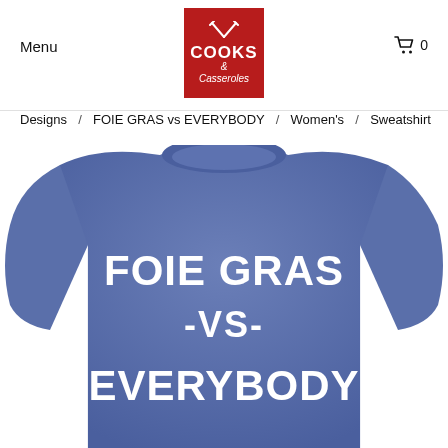Menu
[Figure (logo): Cooks & Casseroles logo: red rectangle with crossed knives/spatulas icon and text 'COOKS & Casseroles']
[Figure (other): Shopping cart icon with '0' next to it]
Designs  /  FOIE GRAS vs EVERYBODY  /  Women's  /  Sweatshirt
[Figure (photo): Blue heather crewneck sweatshirt with white bold text 'FOIE GRAS -VS- EVERYBODY' printed on the front in arched collegiate style lettering]